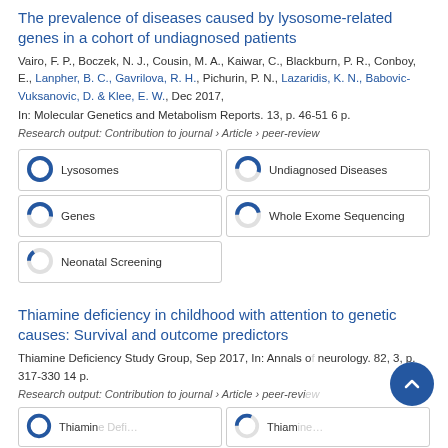The prevalence of diseases caused by lysosome-related genes in a cohort of undiagnosed patients
Vairo, F. P., Boczek, N. J., Cousin, M. A., Kaiwar, C., Blackburn, P. R., Conboy, E., Lanpher, B. C., Gavrilova, R. H., Pichurin, P. N., Lazaridis, K. N., Babovic-Vuksanovic, D. & Klee, E. W., Dec 2017, In: Molecular Genetics and Metabolism Reports. 13, p. 46-51 6 p.
Research output: Contribution to journal › Article › peer-review
[Figure (infographic): Five keyword badges with donut-style percentage indicators: Lysosomes (100%), Undiagnosed Diseases (~55%), Genes (~55%), Whole Exome Sequencing (~45%), Neonatal Screening (~15%)]
Thiamine deficiency in childhood with attention to genetic causes: Survival and outcome predictors
Thiamine Deficiency Study Group, Sep 2017, In: Annals of neurology. 82, 3, p. 317-330 14 p.
Research output: Contribution to journal › Article › peer-review